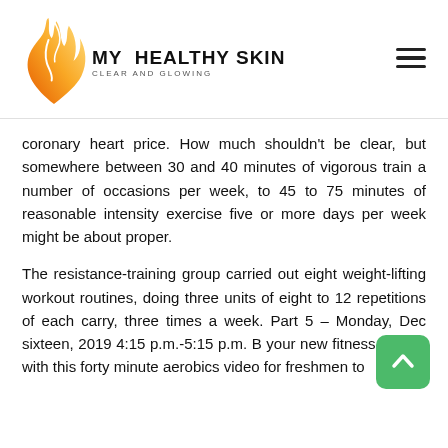[Figure (logo): My Healthy Skin logo with orange flame/face silhouette and text 'MY HEALTHY SKIN CLEAR AND GLOWING']
coronary heart price. How much shouldn't be clear, but somewhere between 30 and 40 minutes of vigorous train a number of occasions per week, to 45 to 75 minutes of reasonable intensity exercise five or more days per week might be about proper.
The resistance-training group carried out eight weight-lifting workout routines, doing three units of eight to 12 repetitions of each carry, three times a week. Part 5 – Monday, Dec sixteen, 2019 4:15 p.m.-5:15 p.m. B your new fitness regime with this forty minute aerobics video for freshmen to